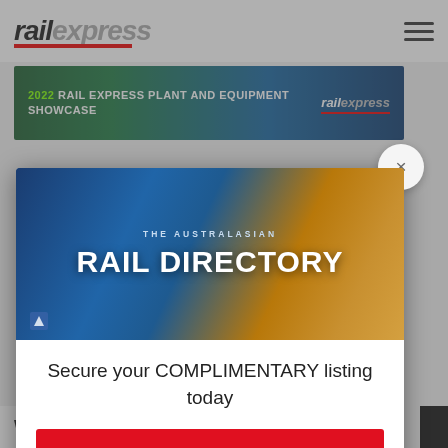railexpress
[Figure (infographic): 2022 Rail Express Plant and Equipment Showcase banner advertisement with green to blue gradient background and rail express logo]
[Figure (infographic): The Australasian Rail Directory popup modal with train image, tagline 'Secure your COMPLIMENTARY listing today' and UPDATE DETAILS button]
What's